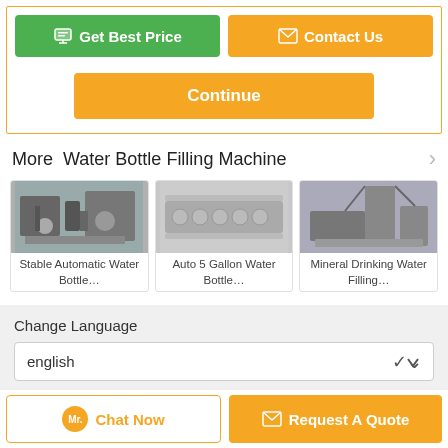[Figure (screenshot): Get Best Price button (green) and Contact Us button (orange) side by side]
[Figure (screenshot): Continue button (orange)]
More  Water Bottle Filling Machine
[Figure (photo): Stable Automatic Water Bottle... - product image of water bottling machine]
Stable Automatic Water Bottle…
[Figure (photo): Auto 5 Gallon Water Bottle... - product image]
Auto 5 Gallon Water Bottle…
[Figure (photo): Mineral Drinking Water Filling... - product image]
Mineral Drinking Water Filling…
Change Language
english
[Figure (screenshot): Chat Now button and Request A Quote button at the bottom]